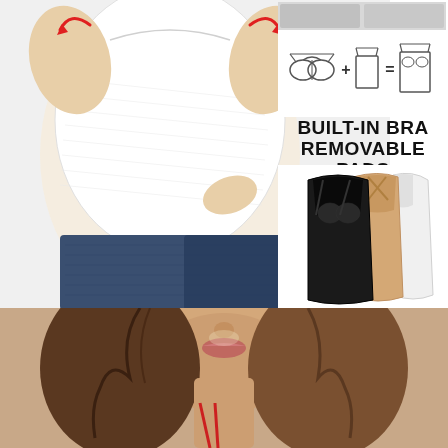[Figure (photo): Woman wearing white fitted camisole top with built-in bra, shown from torso up, with red arrows indicating breast lift/support. Wearing blue jeans.]
[Figure (infographic): Diagram showing bra + camisole = cami with built-in bra equation with line drawings]
BUILT-IN BRA REMOVABLE PADS
[Figure (photo): Three camisole tops in black, beige/nude, and white colors with cross-back straps and built-in bra cups]
[Figure (photo): Close-up portrait of woman with brown hair, showing lower face and neck, wearing red strap camisole]